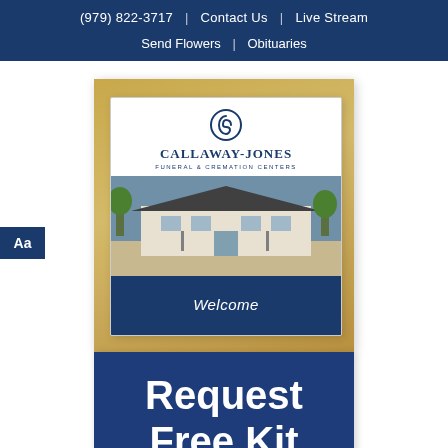(979) 822-3717 | Contact Us | Live Stream | Send Flowers | Obituaries
[Figure (illustration): Callaway-Jones Funeral & Cremation Centers brochure cover with logo, building photo, and 'Welcome' text on blue background]
Request Free Kit
Read Our Reviews